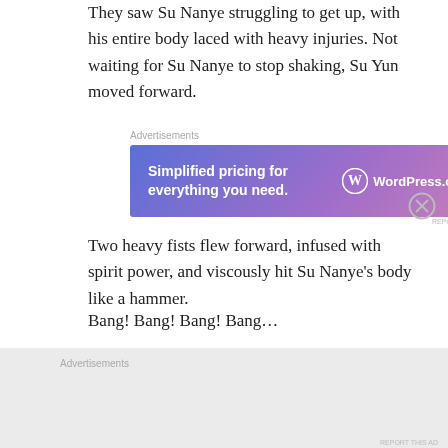They saw Su Nanye struggling to get up, with his entire body laced with heavy injuries. Not waiting for Su Nanye to stop shaking, Su Yun moved forward.
[Figure (other): WordPress.com advertisement banner: 'Simplified pricing for everything you need.' with WordPress.com logo on a blue-to-pink gradient background.]
Two heavy fists flew forward, infused with spirit power, and viscously hit Su Nanye’s body like a hammer.
Bang! Bang! Bang! Bang…
Su Nanye’s body shook from the incoming strikes. The spiritual aura surrounding his body was easily broken through, bringing about to the point that he
[Figure (other): Bottom advertisements placeholder area on gray background.]